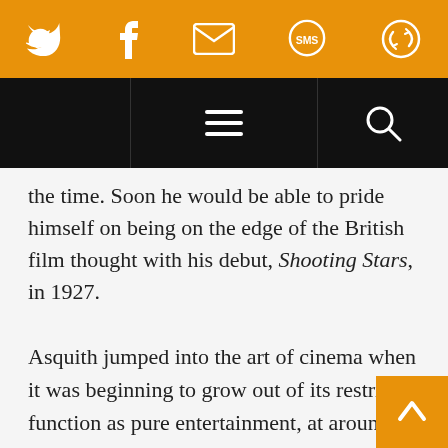[Figure (screenshot): Orange social sharing bar with Twitter, Facebook, email/envelope, SMS, and refresh/share icons in white]
[Figure (screenshot): Black navigation bar with hamburger menu icon in center and search magnifier icon on right]
the time. Soon he would be able to pride himself on being on the edge of the British film thought with his debut, Shooting Stars, in 1927.
Asquith jumped into the art of cinema when it was beginning to grow out of its restricted function as pure entertainment, at around the same time as the birth of the cinema's avant-garde and the origins of film criticism. In his final silent feature, A Cottage on